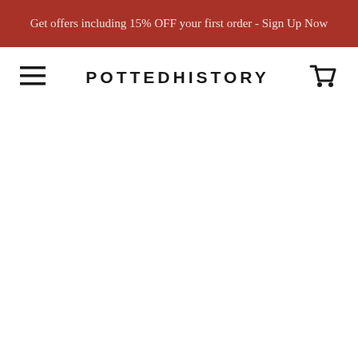Get offers including 15% OFF your first order - Sign Up Now
POTTEDHISTORY